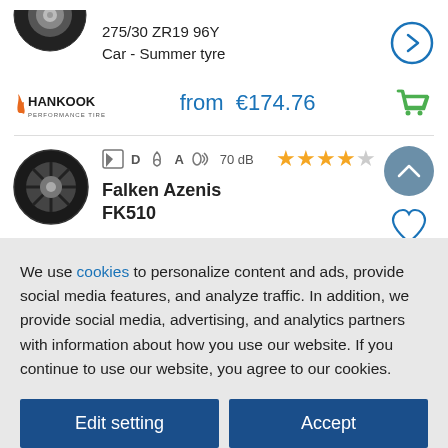[Figure (photo): Partial tire image (top, cropped) - summer tyre]
275/30 ZR19 96Y
Car - Summer tyre
[Figure (other): Blue circle arrow button]
[Figure (logo): Hankook Performance Tires logo in orange and dark]
from  €174.76
[Figure (other): Green shopping cart icon]
[Figure (other): Fuel label D, wet grip A, noise 70 dB icons]
[Figure (other): 4 out of 5 star rating]
[Figure (photo): Falken Azenis FK510 tyre image]
Falken Azenis
FK510
[Figure (other): Blue upward arrow round button]
[Figure (other): Heart/wishlist icon]
We use cookies to personalize content and ads, provide social media features, and analyze traffic. In addition, we provide social media, advertising, and analytics partners with information about how you use our website. If you continue to use our website, you agree to our cookies.
Edit setting
Accept